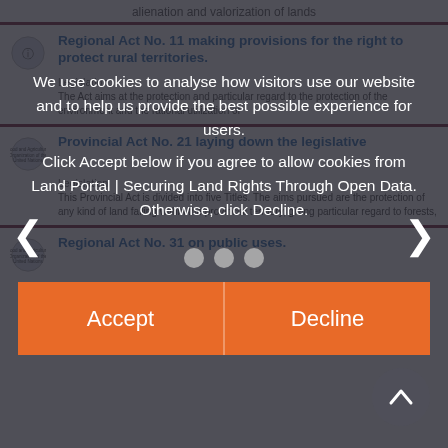alienation and valorization of lands
Regional Act No. 11 making provisions for the right to protect rural territories.
Legislation
The Act aims at the protection and particular regard to the protection of the environment and the rational utilization of
Provincial Act No. 21 laying down the legislative
Legislation
This Provincial Act is divided into five Titles. The aims pursued are the protection of any kind of land falling within the provincial territory, giving particular regard to forests,
Regional Act No. 31 on public uses.
We use cookies to analyse how visitors use our website and to help us provide the best possible experience for users.
Click Accept below if you agree to allow cookies from Land Portal | Securing Land Rights Through Open Data. Otherwise, click Decline.